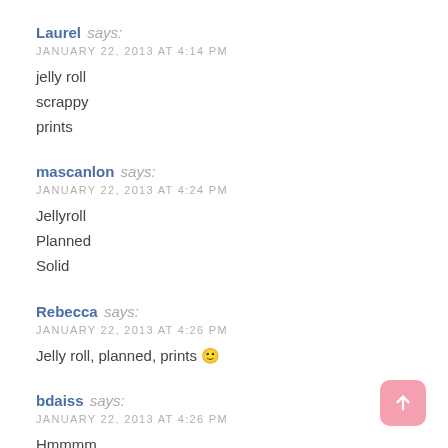Laurel says:
JANUARY 22, 2013 AT 4:14 PM
jelly roll
scrappy
prints
mascanlon says:
JANUARY 22, 2013 AT 4:24 PM
Jellyroll
Planned
Solid
Rebecca says:
JANUARY 22, 2013 AT 4:26 PM
Jelly roll, planned, prints 🙂
bdaiss says:
JANUARY 22, 2013 AT 4:26 PM
Hmmmm...